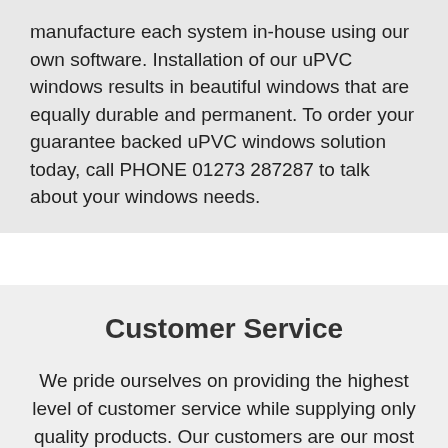manufacture each system in-house using our own software. Installation of our uPVC windows results in beautiful windows that are equally durable and permanent. To order your guarantee backed uPVC windows solution today, call PHONE 01273 287287 to talk about your windows needs.
Customer Service
We pride ourselves on providing the highest level of customer service while supplying only quality products. Our customers are our most important